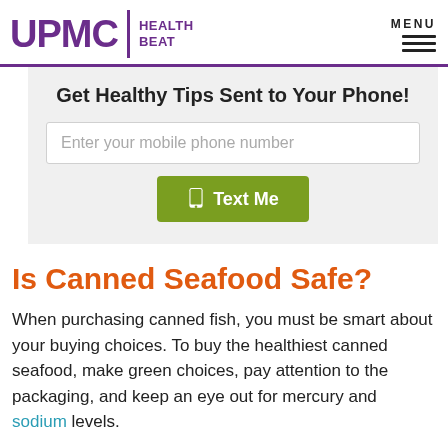UPMC HEALTH BEAT
Get Healthy Tips Sent to Your Phone!
Enter your mobile phone number
Text Me
Is Canned Seafood Safe?
When purchasing canned fish, you must be smart about your buying choices. To buy the healthiest canned seafood, make green choices, pay attention to the packaging, and keep an eye out for mercury and sodium levels.